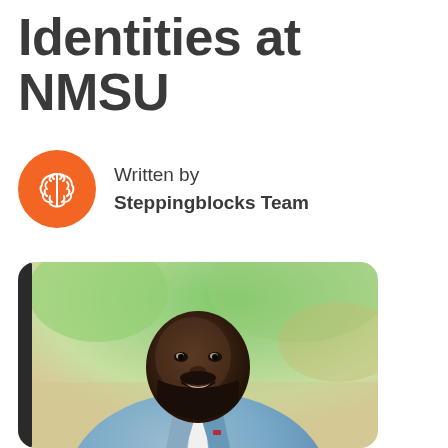Identities at NMSU
Written by
Steppingblocks Team
[Figure (photo): Portrait photograph of a smiling Black man with a beard, wearing a light blue blazer over a white shirt, photographed outdoors with blurred green foliage in the background.]